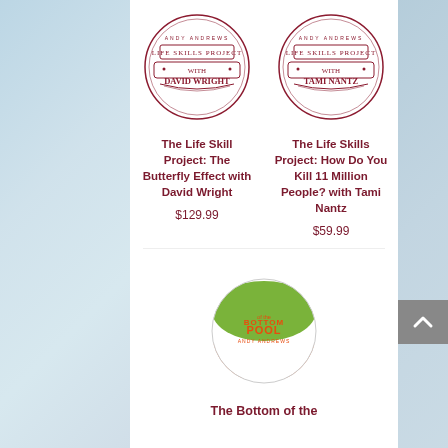[Figure (logo): Life Skills Project with David Wright circular badge logo in dark red/maroon]
[Figure (logo): Life Skills Project with Tami Nantz circular badge logo in dark red/maroon]
The Life Skill Project: The Butterfly Effect with David Wright
$129.99
The Life Skills Project: How Do You Kill 11 Million People? with Tami Nantz
$59.99
[Figure (photo): Beach ball with orange, white, and green sections with Bottom of the Pool Andy Andrews text]
The Bottom of the